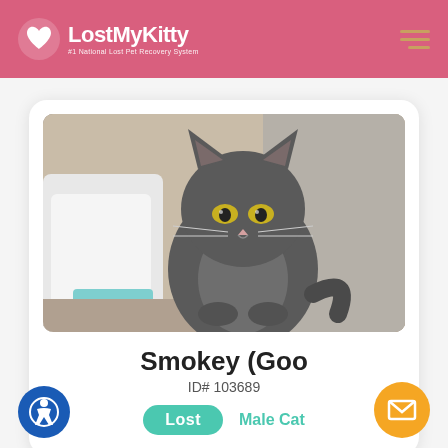LostMyKitty — #1 National Lost Pet Recovery System
[Figure (photo): A gray cat with yellow-green eyes sitting near a white object (likely a litter box), looking directly at the camera. The cat has short fur and pointed ears.]
Smokey (Goo
ID# 103689
Lost   Male Cat